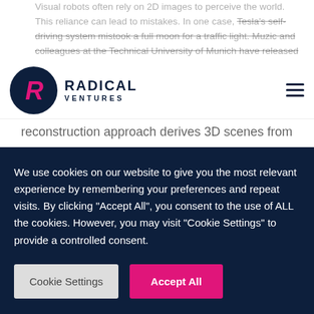Visual robots often rely on 2D images to perceive the world. This reliance can lead to mistakes. In one case, Tesla's self-driving system mistook a full moon for a traffic light. Muzic and colleagues at the Technical University of Munich have released TransformerFusion to solve this problem. The Transformer-based 3D scene reconstruction approach derives 3D scenes from 2D video. The system falls short of human perceptions but demonstrates that Transformers excel at learning which features are most relevant to completing a particular task. The researchers showed that the shortcomings of Transformers, in this case identifying points in space, can
[Figure (logo): Radical Ventures logo - circular dark navy badge with stylized pink R, next to RADICAL VENTURES wordmark in dark navy]
We use cookies on our website to give you the most relevant experience by remembering your preferences and repeat visits. By clicking "Accept All", you consent to the use of ALL the cookies. However, you may visit "Cookie Settings" to provide a controlled consent.